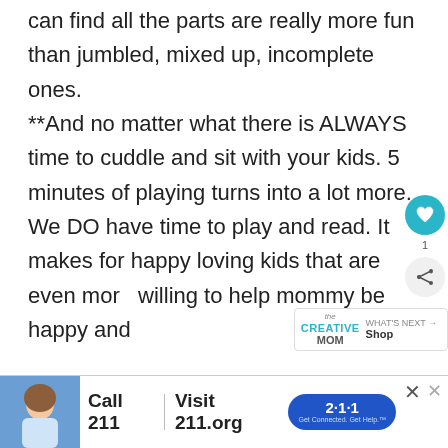can find all the parts are really more fun than jumbled, mixed up, incomplete ones. **And no matter what there is ALWAYS time to cuddle and sit with your kids. 5 minutes of playing turns into a lot more. We DO have time to play and read. It makes for happy loving kids that are even more willing to help mommy be happy and
[Figure (screenshot): UI overlay with heart/like button (teal circle) and share button, plus count label '1']
[Figure (logo): The Creative MOM logo with WHAT'S NEXT → Shop link]
[Figure (infographic): Advertisement banner: photo of child, Call 211 | Visit 211.org with 2·1·1 badge]